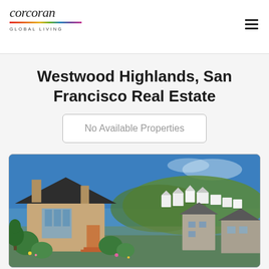[Figure (logo): Corcoran Global Living logo with italic script wordmark, rainbow stripe, and 'GLOBAL LIVING' subtitle]
Westwood Highlands, San Francisco Real Estate
No Available Properties
[Figure (photo): Photograph of Westwood Highlands neighborhood in San Francisco showing large homes with dark roofs, manicured shrubs in foreground, and hillside with white residential buildings under a bright blue sky in background]